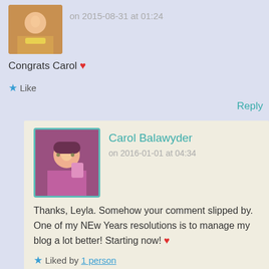[Figure (photo): Small avatar photo of a person in a yellow shirt, partially cropped at top]
on 2015-08-31 at 01:24
Congrats Carol ❤
★ Like
Reply
[Figure (photo): Avatar photo of Carol Balawyder, woman in pink/magenta top, teal border]
Carol Balawyder
on 2016-01-01 at 04:34
Thanks, Leyla. Somehow your comment slipped by. One of my NEw Years resolutions is to manage my blog a lot better! Starting now! ❤
★ Liked by 1 person
Reply
[Figure (photo): Small avatar photo of sheridegrom, person with glasses]
sheridegrom - From the literary and